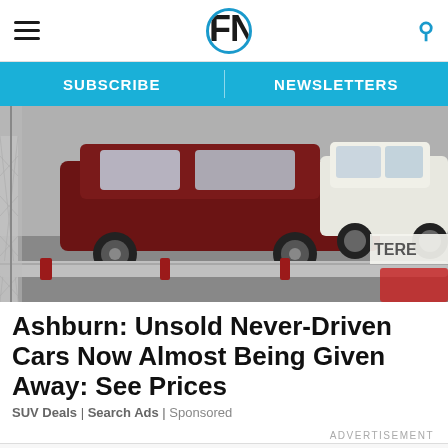FN7 — Footwear News header with hamburger menu, logo, and search icon
SUBSCRIBE | NEWSLETTERS
[Figure (photo): Photo of unsold cars (SUVs) parked behind a chain-link fence in a lot]
Ashburn: Unsold Never-Driven Cars Now Almost Being Given Away: See Prices
SUV Deals | Search Ads | Sponsored
ADVERTISEMENT
Footwear News
WWD AND FN PRESENT FIXING_FIT A SPECIAL REPORT DOWNLOAD THE REPORT